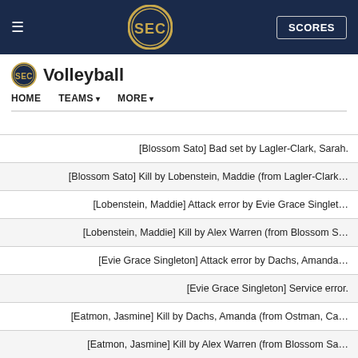SEC Volleyball - HOME | TEAMS | MORE
Volleyball
| Play Description |
| --- |
| [Blossom Sato] Bad set by Lagler-Clark, Sarah. |
| [Blossom Sato] Kill by Lobenstein, Maddie (from Lagler-Clark... |
| [Lobenstein, Maddie] Attack error by Evie Grace Singlet... |
| [Lobenstein, Maddie] Kill by Alex Warren (from Blossom S... |
| [Evie Grace Singleton] Attack error by Dachs, Amanda... |
| [Evie Grace Singleton] Service error. |
| [Eatmon, Jasmine] Kill by Dachs, Amanda (from Ostman, Ca... |
| [Eatmon, Jasmine] Kill by Alex Warren (from Blossom Sa... |
| [Amber Gass] Attack error by Spencer, Megan (block by Chelsea Duh... |